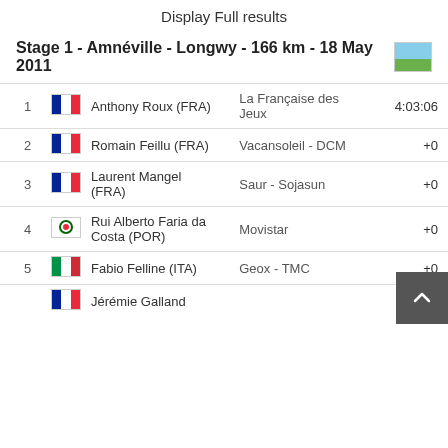Display Full results
Stage 1 - Amnéville - Longwy - 166 km - 18 May 2011
| Rank | Flag | Name | Team | Time |
| --- | --- | --- | --- | --- |
| 1 | FRA | Anthony Roux (FRA) | La Française des Jeux | 4:03:06 |
| 2 | FRA | Romain Feillu (FRA) | Vacansoleil - DCM | +0 |
| 3 | FRA | Laurent Mangel (FRA) | Saur - Sojasun | +0 |
| 4 | POR | Rui Alberto Faria da Costa (POR) | Movistar | +0 |
| 5 | ITA | Fabio Felline (ITA) | Geox - TMC | +0 |
| 6 | FRA | Jérémie Galland |  |  |